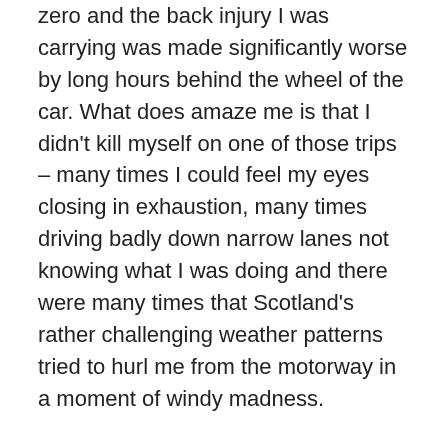zero and the back injury I was carrying was made significantly worse by long hours behind the wheel of the car. What does amaze me is that I didn't kill myself on one of those trips – many times I could feel my eyes closing in exhaustion, many times driving badly down narrow lanes not knowing what I was doing and there were many times that Scotland's rather challenging weather patterns tried to hurl me from the motorway in a moment of windy madness.
It felt a very chaotic and challenging time and I would often find myself in a haze of emotions, often unable to articulate to anyone just how destructive the process was being. I found what little good humour I have was being eroded as I felt the weight of expectation on my shoulders. Sleep, what little there was, was often filled with nightmares of my own making and although I'm not a